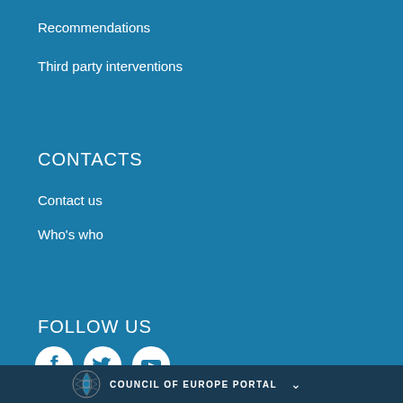Recommendations
Third party interventions
CONTACTS
Contact us
Who's who
FOLLOW US
[Figure (logo): Facebook, Twitter, and YouTube social media icons (circle white icons on teal background)]
COUNCIL OF EUROPE PORTAL